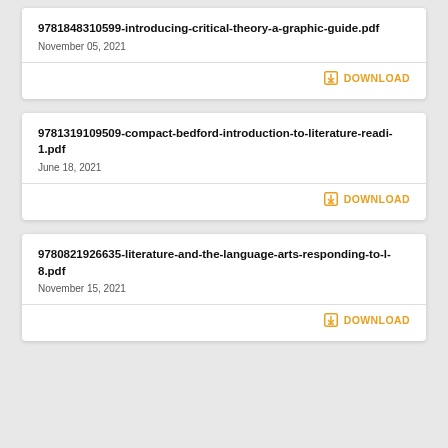9781848310599-introducing-critical-theory-a-graphic-guide.pdf
November 05, 2021
DOWNLOAD
9781319109509-compact-bedford-introduction-to-literature-readi-1.pdf
June 18, 2021
DOWNLOAD
9780821926635-literature-and-the-language-arts-responding-to-l-8.pdf
November 15, 2021
DOWNLOAD